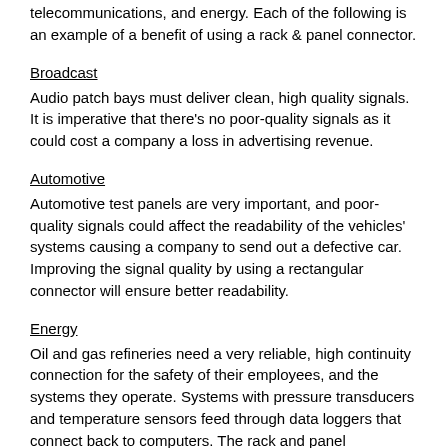telecommunications, and energy. Each of the following is an example of a benefit of using a rack & panel connector.
Broadcast
Audio patch bays must deliver clean, high quality signals. It is imperative that there's no poor-quality signals as it could cost a company a loss in advertising revenue.
Automotive
Automotive test panels are very important, and poor-quality signals could affect the readability of the vehicles' systems causing a company to send out a defective car. Improving the signal quality by using a rectangular connector will ensure better readability.
Energy
Oil and gas refineries need a very reliable, high continuity connection for the safety of their employees, and the systems they operate. Systems with pressure transducers and temperature sensors feed through data loggers that connect back to computers. The rack and panel connectors ensure these are pure